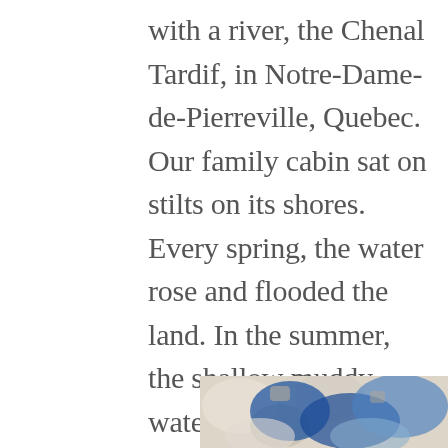with a river, the Chenal Tardif, in Notre-Dame-de-Pierreville, Quebec. Our family cabin sat on stilts on its shores. Every spring, the water rose and flooded the land. In the summer, the shallow muddy waters warmed up and flowed gently towards Lac Saint-Pierre, an impressive widening of the St-Laurence seaway. In the winter, the river froze over and became a road for ice fishers who made the lake their second home for a few months.
[Figure (photo): Partially visible photograph showing abstract blue and white and earthy tones, possibly depicting ice or water scene.]